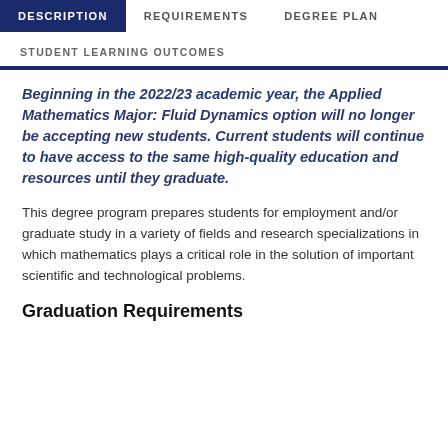DESCRIPTION | REQUIREMENTS | DEGREE PLAN
STUDENT LEARNING OUTCOMES
Beginning in the 2022/23 academic year, the Applied Mathematics Major: Fluid Dynamics option will no longer be accepting new students. Current students will continue to have access to the same high-quality education and resources until they graduate.
This degree program prepares students for employment and/or graduate study in a variety of fields and research specializations in which mathematics plays a critical role in the solution of important scientific and technological problems.
Graduation Requirements